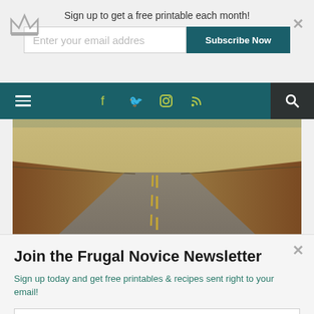Sign up to get a free printable each month! Enter your email addres | Subscribe Now
[Figure (screenshot): Website navigation bar with hamburger menu, social media icons (Facebook, Twitter, Instagram, RSS), and search icon on dark teal background]
[Figure (photo): A long straight road stretching to the horizon through flat Texas landscape with dry grass on both sides and yellow center lines]
THREE TEXAS ROAD TRIP IDEAS
JANUARY 27, 2016
Join the Frugal Novice Newsletter
Sign up today and get free printables & recipes sent right to your email!
Enter your email address
Subscribe Now